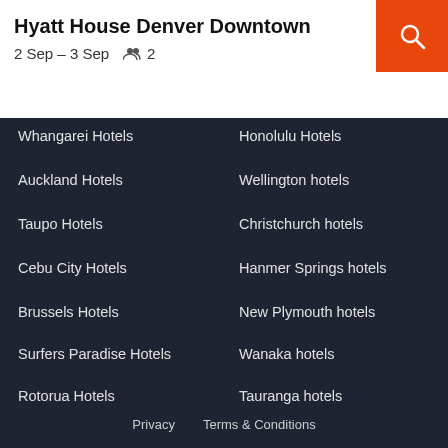Hyatt House Denver Downtown
2 Sep – 3 Sep  2
Whangarei Hotels
Honolulu Hotels
Auckland Hotels
Wellington hotels
Taupo Hotels
Christchurch hotels
Cebu City Hotels
Hanmer Springs hotels
Brussels Hotels
New Plymouth hotels
Surfers Paradise Hotels
Wanaka hotels
Rotorua Hotels
Tauranga hotels
Site
NEW ZEALAND
Privacy  Terms & Conditions